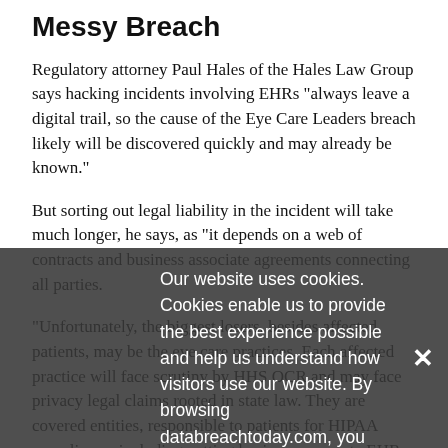Messy Breach
Regulatory attorney Paul Hales of the Hales Law Group says hacking incidents involving EHRs "always leave a digital trail, so the cause of the Eye Care Leaders breach likely will be discovered quickly and may already be known."
But sorting out legal liability in the incident will take much longer, he says, as "it depends on a web of contracts and business associate agreements connecting all parties.
"Unfortunately, the biggest losers, besides affected patients, may be the eye care practices. Each affected practice will face scrutiny by HHS OCR and may face privacy legal claims rooted in state law. They are covered entities, responsible to patients for HIPAA compliance, including vetting business associate EHR vendors."
Our website uses cookies. Cookies enable us to provide the best experience possible and help us understand how visitors use our website. By browsing databreachtoday.com, you agree to our use of cookies.